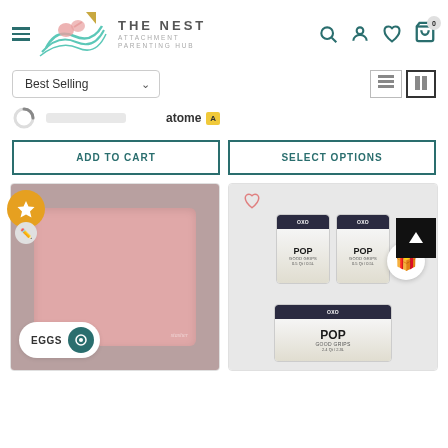THE NEST ATTACHMENT PARENTING HUB
Best Selling
atome A
ADD TO CART
SELECT OPTIONS
[Figure (photo): Pink reusable silicone bag product photo on grey background with EGGS label and circle button at bottom]
[Figure (photo): OXO POP food storage containers set (3 pieces with dark navy lids) product photo]